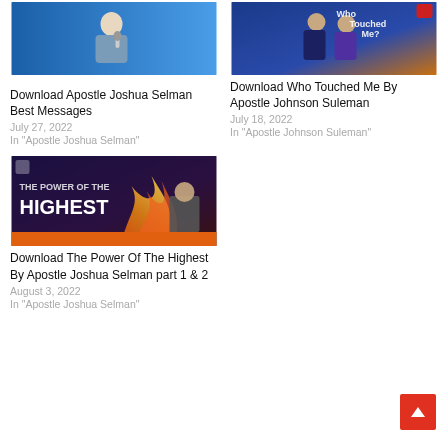[Figure (photo): Photo of a man speaking into a microphone against a blue background]
Download Apostle Joshua Selman Best Messages
July 27, 2022
In "Apostle Joshua Selman"
[Figure (photo): Photo of a man and woman in formal attire with text 'Who Touched Me?' overlay]
Download Who Touched Me By Apostle Johnson Suleman
July 18, 2022
In "Apostle Johnson Suleman"
[Figure (photo): Promotional image with text 'The Power of the Highest' with flames and a man's silhouette on dark background]
Download The Power Of The Highest By Apostle Joshua Selman part 1 & 2
August 3, 2022
In "Apostle Joshua Selman"